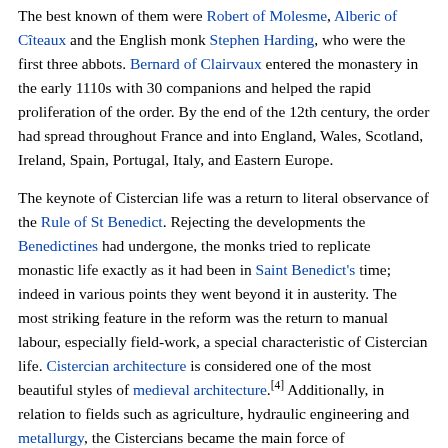The best known of them were Robert of Molesme, Alberic of Cîteaux and the English monk Stephen Harding, who were the first three abbots. Bernard of Clairvaux entered the monastery in the early 1110s with 30 companions and helped the rapid proliferation of the order. By the end of the 12th century, the order had spread throughout France and into England, Wales, Scotland, Ireland, Spain, Portugal, Italy, and Eastern Europe.
The keynote of Cistercian life was a return to literal observance of the Rule of St Benedict. Rejecting the developments the Benedictines had undergone, the monks tried to replicate monastic life exactly as it had been in Saint Benedict's time; indeed in various points they went beyond it in austerity. The most striking feature in the reform was the return to manual labour, especially field-work, a special characteristic of Cistercian life. Cistercian architecture is considered one of the most beautiful styles of medieval architecture.[4] Additionally, in relation to fields such as agriculture, hydraulic engineering and metallurgy, the Cistercians became the main force of technological diffusion in medieval Europe. The Cistercians were adversely affected in England by the Protestant Reformation, the Dissolution of the Monasteries under King Henry